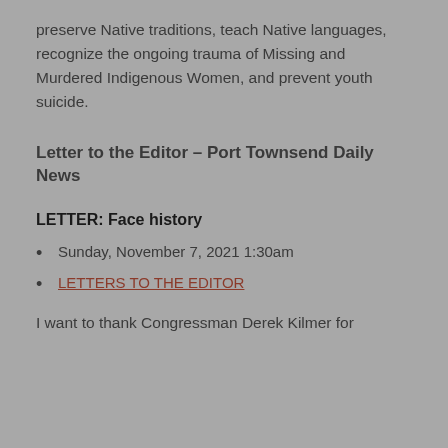preserve Native traditions, teach Native languages, recognize the ongoing trauma of Missing and Murdered Indigenous Women, and prevent youth suicide.
Letter to the Editor – Port Townsend Daily News
LETTER: Face history
Sunday, November 7, 2021 1:30am
LETTERS TO THE EDITOR
I want to thank Congressman Derek Kilmer for